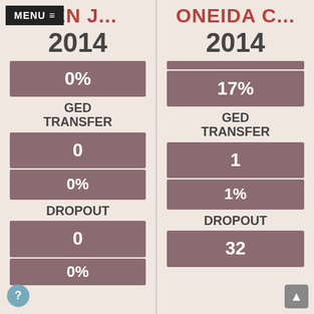MENU ≡ SEN J...
2014
[Figure (infographic): Left column showing SEN J... school 2014 data: GED Transfer 0% (0 count, 0%), Dropout 0 (0%)]
ONEIDA C...
2014
[Figure (infographic): Right column showing ONEIDA C... school 2014 data: GED Transfer 17% (1 count, 1%), Dropout 32]